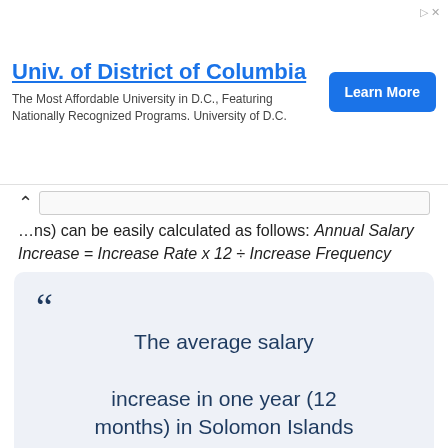[Figure (other): Advertisement banner for University of District of Columbia with Learn More button]
...months) can be easily calculated as follows: Annual Salary Increase = Increase Rate x 12 ÷ Increase Frequency
"The average salary increase in one year (12 months) in Solomon Islands is 2%."